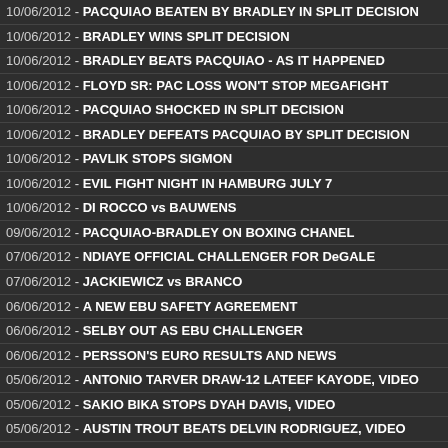10/06/2012 - PACQUIAO BEATEN BY BRADLEY IN SPLIT DECISION
10/06/2012 - BRADLEY WINS SPLIT DECISION
10/06/2012 - BRADLEY BEATS PACQUIAO - AS IT HAPPENED
10/06/2012 - FLOYD SR: PAC LOSS WON'T STOP MEGAFIGHT
10/06/2012 - PACQUIAO SHOCKED IN SPLIT DECISION
10/06/2012 - BRADLEY DEFEATS PACQUIAO BY SPLIT DECISION
10/06/2012 - PAVLIK STOPS SIGMON
10/06/2012 - EVIL FIGHT NIGHT IN HAMBURG JULY 7
10/06/2012 - DI ROCCO vs BAUWENS
09/06/2012 - PACQUIAO-BRADLEY ON BOXING CHANEL
07/06/2012 - NDIAYE OFFICIAL CHALLENGER FOR DeGALE
07/06/2012 - JACKIEWICZ vs BRANCO
06/06/2012 - A NEW EBU SAFETY AGREEMENT
06/06/2012 - SELBY OUT AS EBU CHALLENGER
06/06/2012 - PERSSON'S EURO RESULTS AND NEWS
05/06/2012 - ANTONIO TARVER DRAW-12 LATEEF KAYODE, VIDEO
05/06/2012 - SAKIO BIKA STOPS DYAH DAVIS, VIDEO
05/06/2012 - AUSTIN TROUT BEATS DELVIN RODRIGUEZ, VIDEO
05/06/2012 - THE WBC BOARD OF GOVERNORS IN MEXICO CITY
05/06/2012 - BRAEKHUS RETAINED WBC CROWN
03/06/2012 - WBA: BRAEKHUS RETAINS TITLE
03/06/2012 - TROUT TOPS RODRIGUEZ
03/06/2012 - SHUMENOV RETAINS WBA LIGHT HEAVYWEIGHT CROW
03/06/2012 - TARVER ABLE TO EARN DRAW AGAINST KAYODE
03/06/2012 - TARVER FIGHTS TO DRAW WITH KAYODE; WRIGHT LOS
03/06/2012 - ROSE DEFENDED HIS BRITISH BELT OVER CARSLAW
03/06/2012 - SHUMENOV PUNISHES ORNELAS